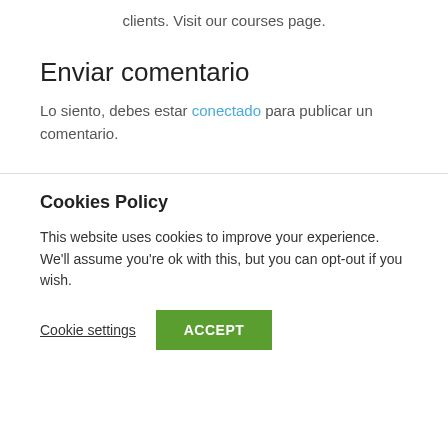clients. Visit our courses page.
Enviar comentario
Lo siento, debes estar conectado para publicar un comentario.
Cookies Policy
This website uses cookies to improve your experience. We'll assume you're ok with this, but you can opt-out if you wish.
Cookie settings
ACCEPT